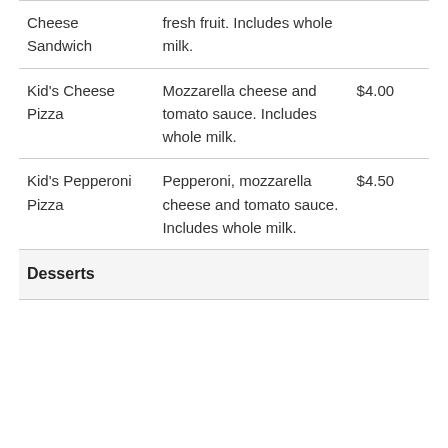| Item | Description | Price |
| --- | --- | --- |
| Cheese Sandwich | fresh fruit. Includes whole milk. |  |
| Kid's Cheese Pizza | Mozzarella cheese and tomato sauce. Includes whole milk. | $4.00 |
| Kid's Pepperoni Pizza | Pepperoni, mozzarella cheese and tomato sauce. Includes whole milk. | $4.50 |
Desserts